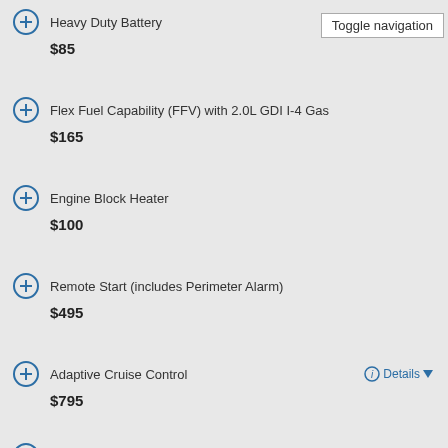Heavy Duty Battery — $85
Flex Fuel Capability (FFV) with 2.0L GDI I-4 Gas — $165
Engine Block Heater — $100
Remote Start (includes Perimeter Alarm) — $495
Adaptive Cruise Control — $795